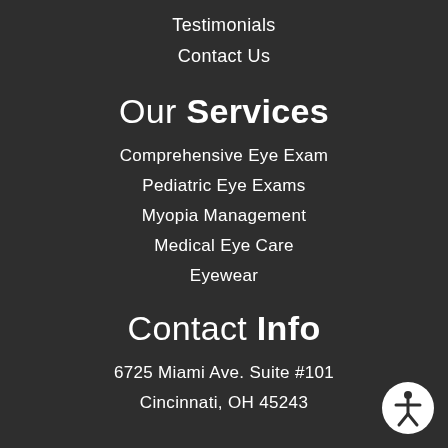Testimonials
Contact Us
Our Services
Comprehensive Eye Exam
Pediatric Eye Exams
Myopia Management
Medical Eye Care
Eyewear
Contact Info
6725 Miami Ave. Suite #101
Cincinnati, OH 45243
[Figure (illustration): Accessibility icon: circular button with white background and a human figure symbol in the center]